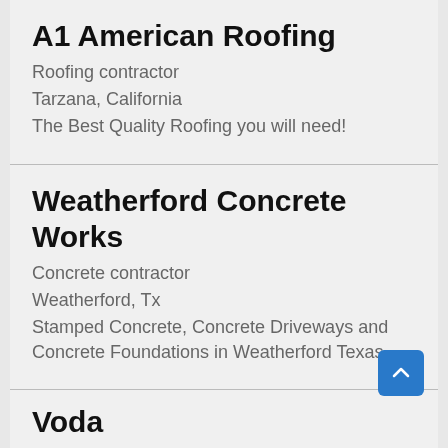A1 American Roofing
Roofing contractor
Tarzana, California
The Best Quality Roofing you will need!
Weatherford Concrete Works
Concrete contractor
Weatherford, Tx
Stamped Concrete, Concrete Driveways and Concrete Foundations in Weatherford Texas
Voda